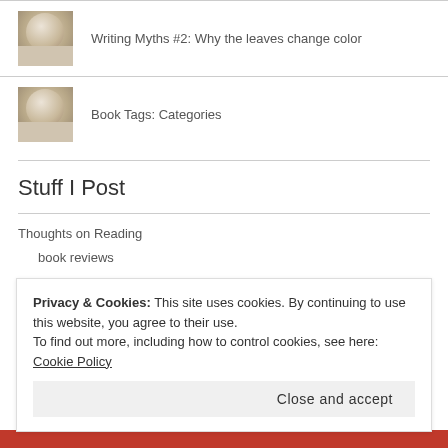Writing Myths #2: Why the leaves change color
Book Tags: Categories
Stuff I Post
Thoughts on Reading
book reviews
comic book reviews
Privacy & Cookies: This site uses cookies. By continuing to use this website, you agree to their use.
To find out more, including how to control cookies, see here: Cookie Policy
Close and accept